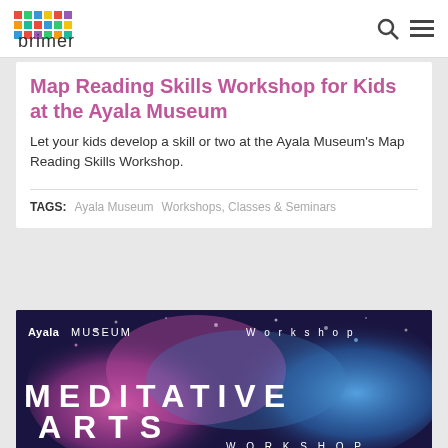primer (logo with search and menu icons)
Map Reading Skills Workshop for Kids at the Ayala Museum
Let your kids develop a skill or two at the Ayala Museum's Map Reading Skills Workshop.
TAGS: Ayala Museum  Workshops, Classes & Seminars
[Figure (photo): Ayala Museum Workshop promotional image for Meditative Arts Workshop showing colorful pink and blue powder explosion against dark background with text 'MEDITATIVE ARTS WORKSHOP']